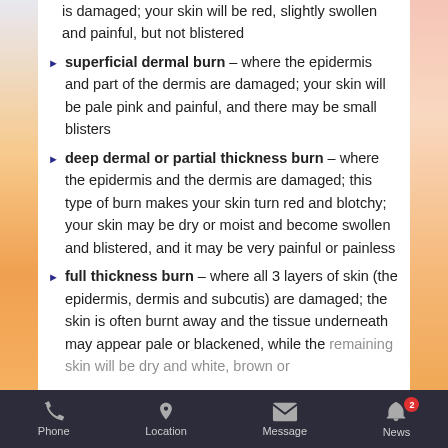is damaged; your skin will be red, slightly swollen and painful, but not blistered
superficial dermal burn – where the epidermis and part of the dermis are damaged; your skin will be pale pink and painful, and there may be small blisters
deep dermal or partial thickness burn – where the epidermis and the dermis are damaged; this type of burn makes your skin turn red and blotchy; your skin may be dry or moist and become swollen and blistered, and it may be very painful or painless
full thickness burn – where all 3 layers of skin (the epidermis, dermis and subcutis) are damaged; the skin is often burnt away and the tissue underneath may appear pale or blackened, while the remaining skin will be dry and white, brown or
Phone  Location  Message  News